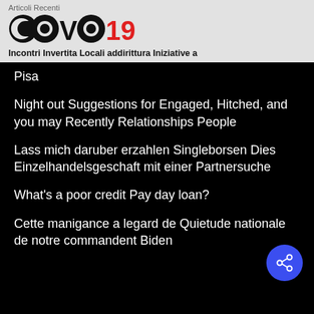Articoli Recenti
[Figure (logo): COVID19 logo with stylized text, C and O letters as globe icons, 19 in red]
Incontri Invertita Locali addirittura Iniziative a
Pisa
Night out Suggestions for Engaged, Hitched, and you may Recently Relationships People
Lass mich daruber erzahlen Singleborsen Dies Einzelhandelsgeschaft mit einer Partnersuche
What's a poor credit Pay day loan?
Cette manigance a legard de Quietude nationale de notre commandent Biden